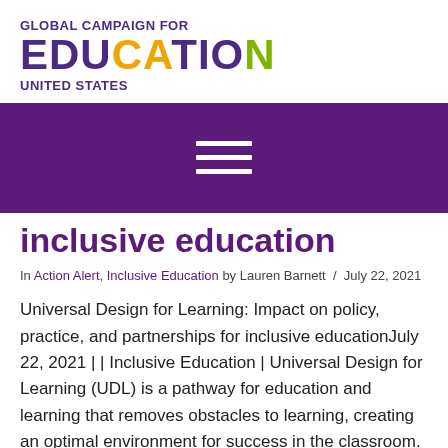[Figure (logo): Global Campaign for Education United States logo with purple, orange, and green lettering]
[Figure (other): Purple navigation bar with white hamburger menu icon]
inclusive education
In Action Alert, Inclusive Education by Lauren Barnett / July 22, 2021
Universal Design for Learning: Impact on policy, practice, and partnerships for inclusive educationJuly 22, 2021 | | Inclusive Education | Universal Design for Learning (UDL) is a pathway for education and learning that removes obstacles to learning, creating an optimal environment for success in the classroom. UDL